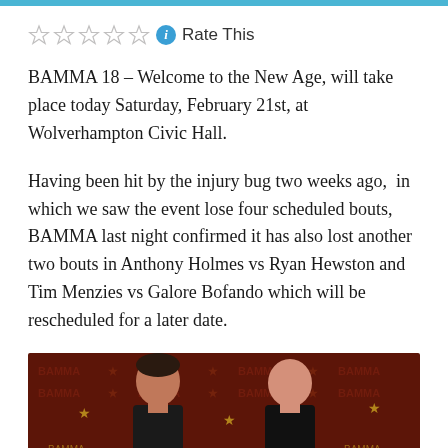Rate This
BAMMA 18 – Welcome to the New Age, will take place today Saturday, February 21st, at Wolverhampton Civic Hall.
Having been hit by the injury bug two weeks ago, in which we saw the event lose four scheduled bouts, BAMMA last night confirmed it has also lost another two bouts in Anthony Holmes vs Ryan Hewston and Tim Menzies vs Galore Bofando which will be rescheduled for a later date.
[Figure (photo): Two fighters photographed at a BAMMA press conference against a dark red BAMMA branded backdrop]